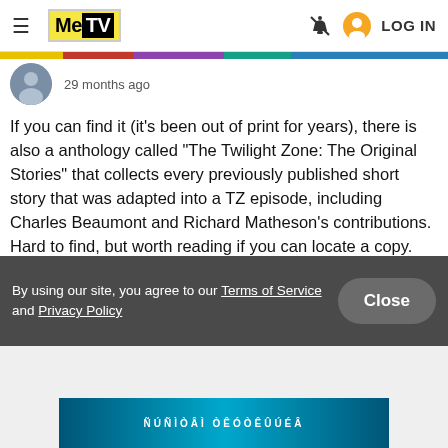MeTV | LOG IN
29 months ago
If you can find it (it's been out of print for years), there is also a anthology called "The Twilight Zone: The Original Stories" that collects every previously published short story that was adapted into a TZ episode, including Charles Beaumont and Richard Matheson's contributions. Hard to find, but worth reading if you can locate a copy.
By using our site, you agree to our Terms of Service and Privacy Policy
Close